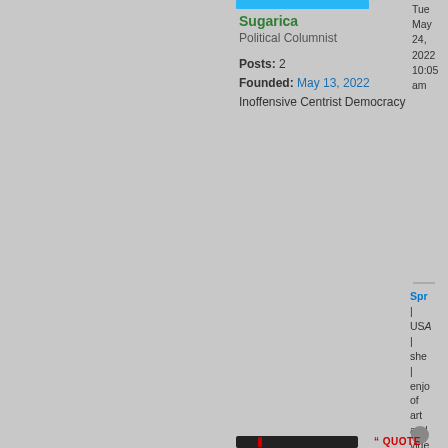[Figure (other): Cyan/blue horizontal avatar bar at top of user profile card]
Sugarica
Political Columnist
Posts: 2
Founded: May 13, 2022
Inoffensive Centrist Democracy
Tue May 24, 2022 10:05 am
Spr
| USA | she | enjo of art and vide gan
[Figure (other): Bottom card with dark avatar image and QUOTE button visible]
QUOTE